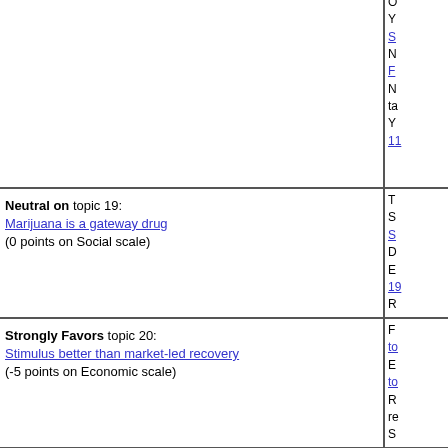Neutral on topic 19: Marijuana is a gateway drug (0 points on Social scale)
Strongly Favors topic 20: Stimulus better than market-led recovery (-5 points on Economic scale)